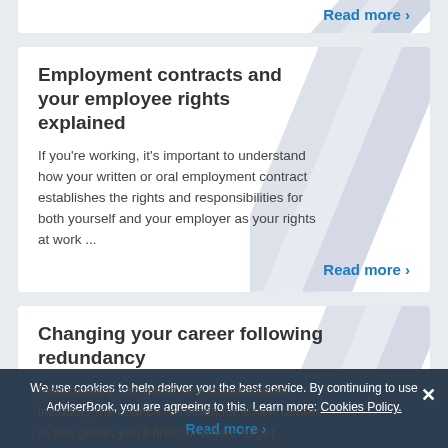Read more ›
Employment contracts and your employee rights explained
If you're working, it's important to understand how your written or oral employment contract establishes the rights and responsibilities for both yourself and your employer as your rights at work ...
Read more ›
Changing your career following redundancy
Redundancy can mean new opportunities, including the chance to retrain for a new career. In this guide, you'll find out where to get financial support and advice as well as your options for retr...
Read more ›
We use cookies to help deliver you the best service. By continuing to use AdviserBook, you are agreeing to this. Learn more: Cookies Policy.